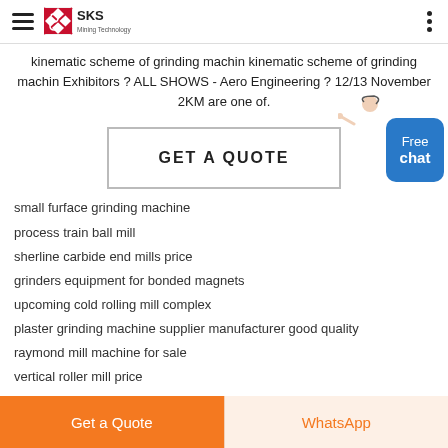SKS Mining Technology
kinematic scheme of grinding machin kinematic scheme of grinding machin Exhibitors ? ALL SHOWS - Aero Engineering ? 12/13 November 2KM are one of.
GET A QUOTE
small furface grinding machine
process train ball mill
sherline carbide end mills price
grinders equipment for bonded magnets
upcoming cold rolling mill complex
plaster grinding machine supplier manufacturer good quality
raymond mill machine for sale
vertical roller mill price
Get a Quote   WhatsApp